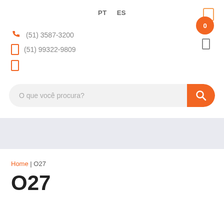PT   ES
(51) 3587-3200
(51) 99322-9809
O que você procura?
Home | O27
O27